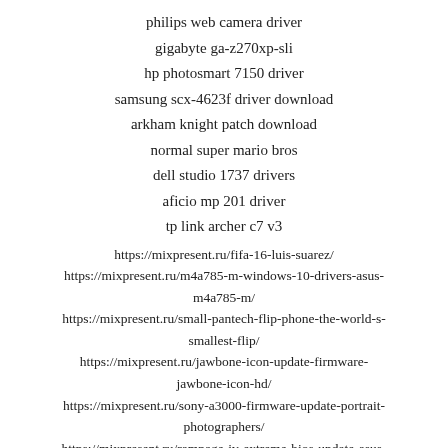philips web camera driver
gigabyte ga-z270xp-sli
hp photosmart 7150 driver
samsung scx-4623f driver download
arkham knight patch download
normal super mario bros
dell studio 1737 drivers
aficio mp 201 driver
tp link archer c7 v3
https://mixpresent.ru/fifa-16-luis-suarez/
https://mixpresent.ru/m4a785-m-windows-10-drivers-asus-m4a785-m/
https://mixpresent.ru/small-pantech-flip-phone-the-world-s-smallest-flip/
https://mixpresent.ru/jawbone-icon-update-firmware-jawbone-icon-hd/
https://mixpresent.ru/sony-a3000-firmware-update-portrait-photographers/
https://mixpresent.ru/rampage-iv-extreme-bios-update-asus-rampage-iv/